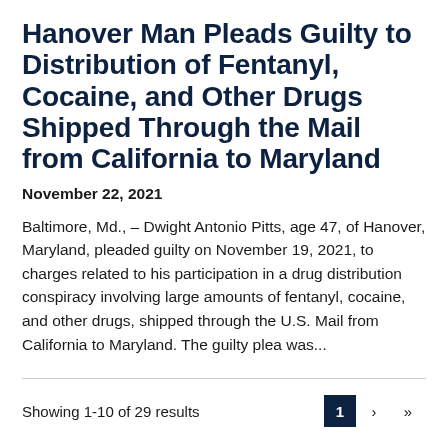Hanover Man Pleads Guilty to Distribution of Fentanyl, Cocaine, and Other Drugs Shipped Through the Mail from California to Maryland
November 22, 2021
Baltimore, Md., – Dwight Antonio Pitts, age 47, of Hanover, Maryland, pleaded guilty on November 19, 2021, to charges related to his participation in a drug distribution conspiracy involving large amounts of fentanyl, cocaine, and other drugs, shipped through the U.S. Mail from California to Maryland. The guilty plea was...
Showing 1-10 of 29 results